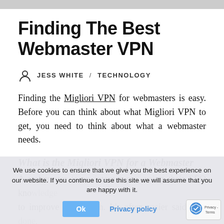[Figure (photo): Grey bar at top representing cropped image/photo area]
Finding The Best Webmaster VPN
JESS WHITE / TECHNOLOGY
Finding the Migliori VPN for webmasters is easy. Before you can think about what Migliori VPN to get, you need to think about what a webmaster needs.
What is the Migliori VPN for a Webmaster
A webmaster is an internet pro, using their SEO knowledge to improve their reach. It's often easier said than done, especially with the ever-changing environment that is the
We use cookies to ensure that we give you the best experience on our website. If you continue to use this site we will assume that you are happy with it.